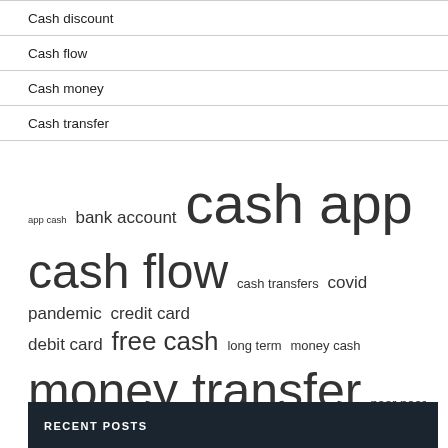Cash discount
Cash flow
Cash money
Cash transfer
app cash  bank account  cash app  cash flow  cash transfers  covid pandemic  credit card  debit card  free cash  long term  money cash  money transfer  peer peer  send money  united states
RECENT POSTS